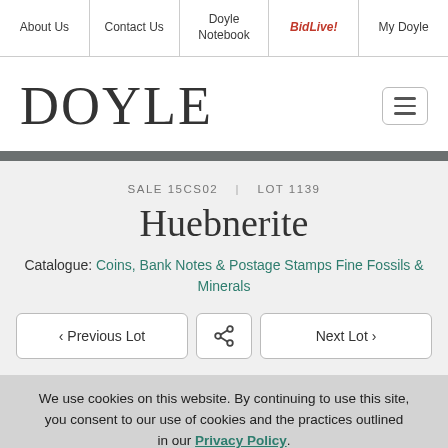About Us | Contact Us | Doyle Notebook | BidLive! | My Doyle
DOYLE
SALE 15CS02  |  LOT 1139
Huebnerite
Catalogue: Coins, Bank Notes & Postage Stamps Fine Fossils & Minerals
‹ Previous Lot  [share]  Next Lot ›
We use cookies on this website. By continuing to use this site, you consent to our use of cookies and the practices outlined in our Privacy Policy.